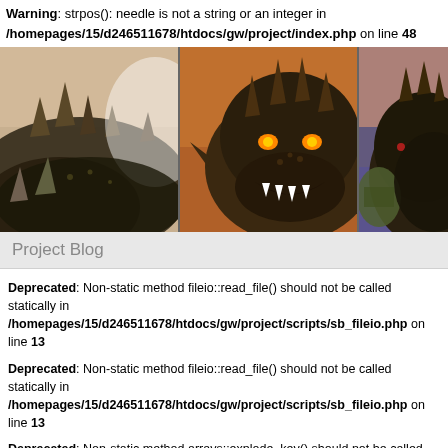Warning: strpos(): needle is not a string or an integer in /homepages/15/d246511678/htdocs/gw/project/index.php on line 48
[Figure (photo): Banner image showing three panels of a dark fantasy creature (dragon-like monster) close-ups against orange/brown backgrounds. Left panel shows creature's side profile, center shows a frontal view with glowing eyes and open mouth, right panel shows another angle partially cropped.]
Project Blog
Deprecated: Non-static method fileio::read_file() should not be called statically in /homepages/15/d246511678/htdocs/gw/project/scripts/sb_fileio.php on line 13
Deprecated: Non-static method fileio::read_file() should not be called statically in /homepages/15/d246511678/htdocs/gw/project/scripts/sb_fileio.php on line 13
Deprecated: Non-static method arrays::explode_key() should not be called statically in /homepages/15/d246511678/htdocs/gw/project/scripts/sb_entry.php on line 254
Deprecated: Non-static method fileio::read_file() should not be called statically in /homepages/15/d246511678/htdocs/gw/project/scripts/sb_fileio.php on line 13
Deprecated: Non-static method fileio::read_file() should not be called statically in /homepages/15/d246511678/htdocs/gw/project/scripts/sb_fileio.php on line 13
Deprecated: Non-static method fileio::read_file() should not be called statically in /homepages/15/d246511678/htdocs/gw/project/scripts/sb_fileio.php on line 13
Deprecated: Non-static method fileio::read_file() should not be called statically in /homepages/15/d246511678/htdocs/gw/project/scripts/sb_fileio.php on line 13